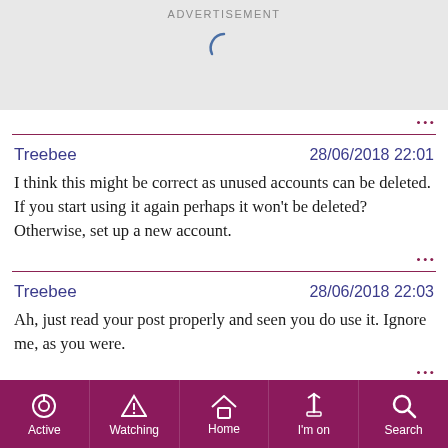[Figure (other): Advertisement banner with loading spinner on grey background]
Treebee   28/06/2018 22:01
I think this might be correct as unused accounts can be deleted. If you start using it again perhaps it won't be deleted? Otherwise, set up a new account.
Treebee   28/06/2018 22:03
Ah, just read your post properly and seen you do use it. Ignore me, as you were.
[Figure (other): Mobile app navigation bar with Active, Watching, Home, I'm on, Search icons on dark pink/maroon background]